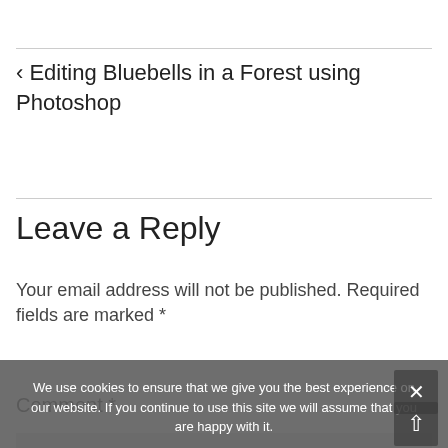‹ Editing Bluebells in a Forest using Photoshop
Leave a Reply
Your email address will not be published. Required fields are marked *
Comment *
We use cookies to ensure that we give you the best experience on our website. If you continue to use this site we will assume that you are happy with it.